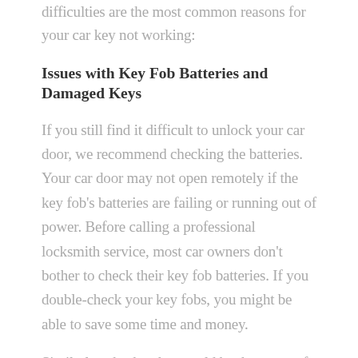difficulties are the most common reasons for your car key not working:
Issues with Key Fob Batteries and Damaged Keys
If you still find it difficult to unlock your car door, we recommend checking the batteries. Your car door may not open remotely if the key fob's batteries are failing or running out of power. Before calling a professional locksmith service, most car owners don't bother to check their key fob batteries. If you double-check your key fobs, you might be able to save some time and money.
Similarly, a broken key could be the cause of your